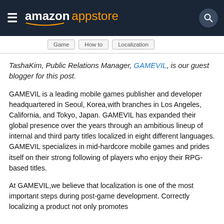amazon appstore
Game
How to
Localization
TashaKim, Public Relations Manager, GAMEVIL, is our guest blogger for this post.
GAMEVIL is a leading mobile games publisher and developer headquartered in Seoul, Korea,with branches in Los Angeles, California, and Tokyo, Japan. GAMEVIL has expanded their global presence over the years through an ambitious lineup of internal and third party titles localized in eight different languages. GAMEVIL specializes in mid-hardcore mobile games and prides itself on their strong following of players who enjoy their RPG-based titles.
At GAMEVIL,we believe that localization is one of the most important steps during post-game development. Correctly localizing a product not only promotes